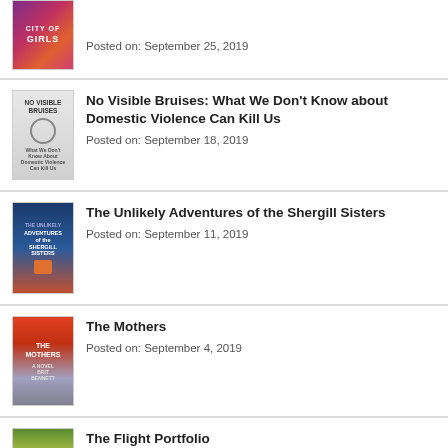[Figure (illustration): Book cover of 'City of Girls' with purple/pink/red gradient]
Posted on: September 25, 2019
No Visible Bruises: What We Don't Know about Domestic Violence Can Kill Us
Posted on: September 18, 2019
The Unlikely Adventures of the Shergill Sisters
Posted on: September 11, 2019
The Mothers
Posted on: September 4, 2019
The Flight Portfolio
Posted on: August 28, 2019